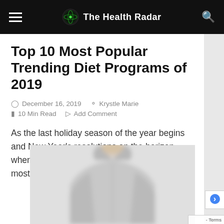The Health Radar
Top 10 Most Popular Trending Diet Programs of 2019
December 16, 2019  Krystle Marie  10 Min Read  Add Comment
As the last holiday season of the year begins and New Year's resolutions on the horizon, when it comes to self-improvement, one of the most common endeavors to…
[Figure (photo): Blurred photo of a person wearing a light grey collared shirt, cropped at chest/neck area]